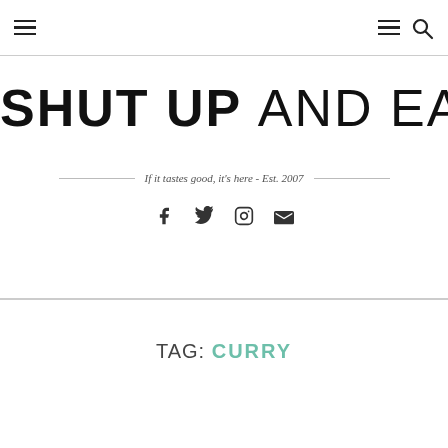Navigation header with hamburger menu icons and search icon
SHUT UP AND EAT
If it tastes good, it's here - Est. 2007
[Figure (other): Social media icons: Facebook, Twitter, Instagram, Email]
TAG: CURRY